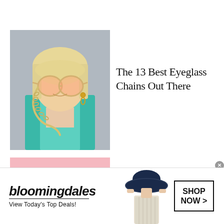[Figure (photo): Close-up photo of a blonde woman wearing large round pink-tinted sunglasses with an eyeglass chain/necklace and a teal jacket]
The 13 Best Eyeglass Chains Out There
[Figure (photo): Flat lay photo of a white candle in a glass jar, a tan straw wide-brim hat with dark brown band, and a blue round object, on a pink background]
18 Luxury Mother's Day Gifts When She
[Figure (photo): Bloomingdale's advertisement banner showing a woman in a navy blue floppy hat, with the Bloomingdale's logo, tagline 'View Today's Top Deals!' and a 'SHOP NOW >' button]